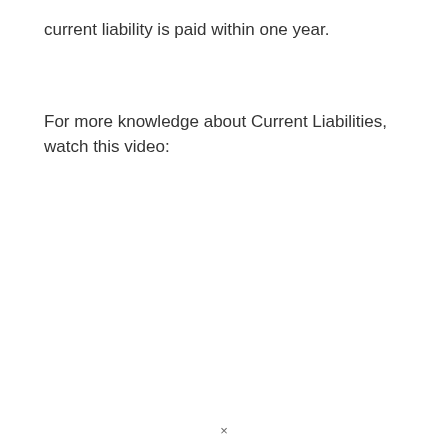current liability is paid within one year.
For more knowledge about Current Liabilities, watch this video: